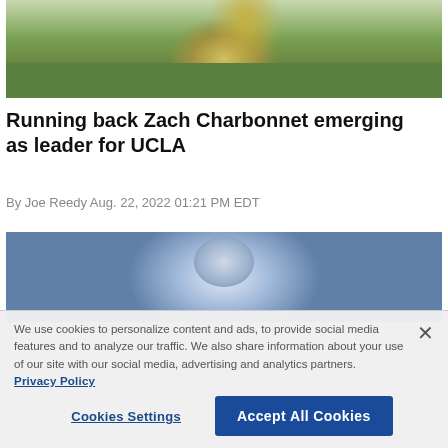[Figure (photo): Sports photo of a football player in yellow/gold uniform running on a green field]
Running back Zach Charbonnet emerging as leader for UCLA
By Joe Reedy Aug. 22, 2022 01:21 PM EDT
[Figure (photo): Partially visible sports photo with crowd in purple and white background]
We use cookies to personalize content and ads, to provide social media features and to analyze our traffic. We also share information about your use of our site with our social media, advertising and analytics partners. Privacy Policy
Cookies Settings | Accept All Cookies